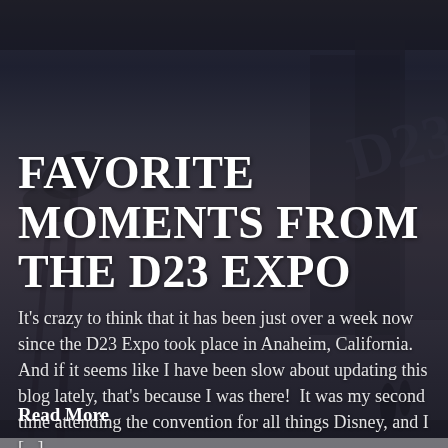[Figure (photo): Dark twilight photo of the D23 Expo venue exterior in Anaheim, California, showing palm trees, large building signage with D23 Expo logo, and silhouettes of people walking. The image has a dark blue-gray overlay tone.]
FAVORITE MOMENTS FROM THE D23 EXPO
It's crazy to think that it has been just over a week now since the D23 Expo took place in Anaheim, California.  And if it seems like I have been slow about updating this blog lately, that's because I was there!  It was my second time attending the convention for all things Disney, and I [...]
Read More